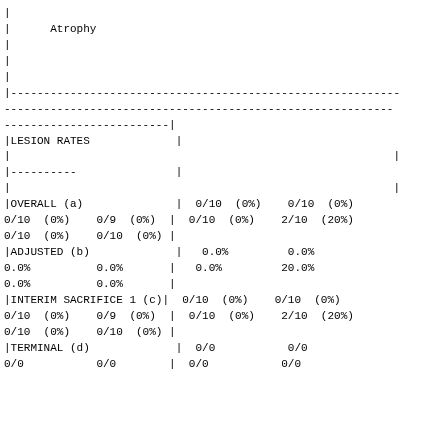|  | LESION RATES / CATEGORIES | Group 1 | Group 2 | Group 3 | Group 4 | Group 5 | Group 6 |
| --- | --- | --- | --- | --- | --- | --- | --- |
| Atrophy |  |  |  |  |  |  |  |
| LESION RATES |  |  |  |  |  |  |  |
| OVERALL (a) |  | 0/10 (0%) | 0/10 (0%) | 0/10 (0%) | 0/9 (0%) | 0/10 (0%) | 2/10 (20%) |
|  |  | 0/10 (0%) | 0/10 (0%) |  |  |  |  |
| ADJUSTED (b) |  | 0.0% | 0.0% | 0.0% | 0.0% | 0.0% | 20.0% |
|  |  | 0.0% | 0.0% |  |  |  |  |
| INTERIM SACRIFICE 1 (c) |  | 0/10 (0%) | 0/10 (0%) | 0/10 (0%) | 0/9 (0%) | 0/10 (0%) | 2/10 (20%) |
|  |  | 0/10 (0%) | 0/10 (0%) |  |  |  |  |
| TERMINAL (d) |  | 0/0 | 0/0 | 0/0 | 0/0 | 0/0 | 0/0 |